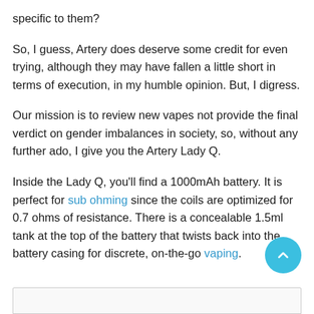specific to them?
So, I guess, Artery does deserve some credit for even trying, although they may have fallen a little short in terms of execution, in my humble opinion. But, I digress.
Our mission is to review new vapes not provide the final verdict on gender imbalances in society, so, without any further ado, I give you the Artery Lady Q.
Inside the Lady Q, you'll find a 1000mAh battery. It is perfect for sub ohming since the coils are optimized for 0.7 ohms of resistance. There is a concealable 1.5ml tank at the top of the battery that twists back into the battery casing for discrete, on-the-go vaping.